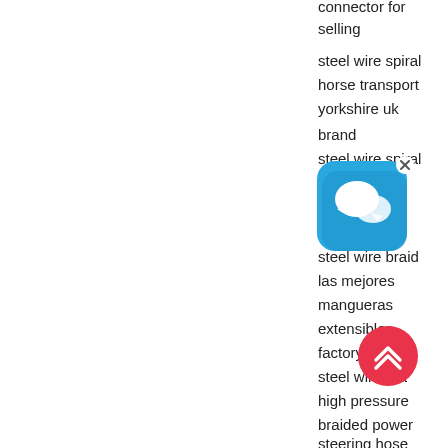connector for selling
steel wire spiral
horse transport
yorkshire uk
brand
steel wire spiral
best duc
air cond
for selling
steel wire braid
las mejores
mangueras
extensibles
factory
steel wire bra
high pressure
braided power
steering hose
[Figure (screenshot): Chat bubble UI overlay icon (blue rounded square with white speech bubbles, close X button)]
[Figure (screenshot): Red circular scroll-to-top button with white double chevron up arrow]